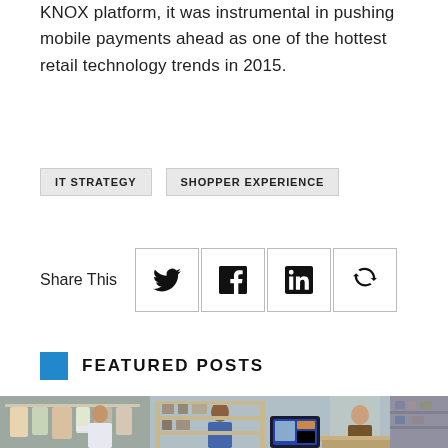KNOX platform, it was instrumental in pushing mobile payments ahead as one of the hottest retail technology trends in 2015.
IT STRATEGY
SHOPPER EXPERIENCE
Share This
[Figure (infographic): Social share icons: Twitter, Facebook, LinkedIn, Retweet]
FEATURED POSTS
[Figure (photo): Retail shop interior with people browsing clothing racks and shelves, a digital display tablet visible on a table]